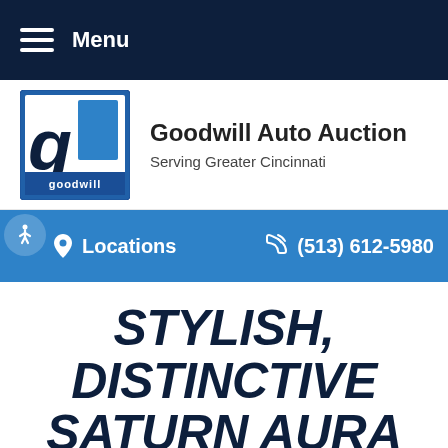Menu
[Figure (logo): Goodwill logo — white letter g on blue background with goodwill text below]
Goodwill Auto Auction
Serving Greater Cincinnati
Locations   (513) 612-5980
STYLISH, DISTINCTIVE SATURN AURA FEATURED AT